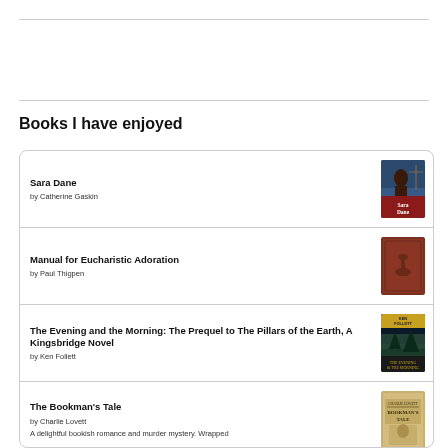Books I have enjoyed
Sara Dane by Catherine Gaskin
Manual for Eucharistic Adoration by Paul Thigpen
The Evening and the Morning: The Prequel to The Pillars of the Earth, A Kingsbridge Novel by Ken Follett
The Bookman's Tale by Charlie Lovett — A delightful bookish romance and murder mystery. Wrapped